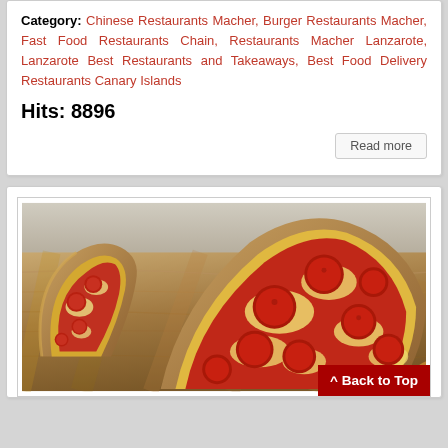Category: Chinese Restaurants Macher, Burger Restaurants Macher, Fast Food Restaurants Chain, Restaurants Macher Lanzarote, Lanzarote Best Restaurants and Takeaways, Best Food Delivery Restaurants Canary Islands
Hits: 8896
Read more
[Figure (photo): Photo of pepperoni pizza slices on a wooden board]
^ Back to Top